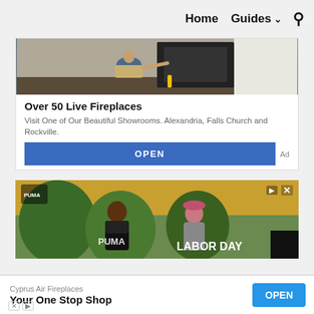Home  Guides  🔍
[Figure (screenshot): Advertisement: Over 50 Live Fireplaces. Image of person working on fireplace. Text: Visit One of Our Beautiful Showrooms. Alexandria, Falls Church and Rockville. Blue OPEN button. Ad label.]
[Figure (screenshot): Puma advertisement with two people in outdoor setting. Text: LABOR DAY. Close and play icons in top right.]
[Figure (screenshot): Bottom banner ad for Cyprus Air Fireplaces. Text: Your One Stop Shop. OPEN button. Ad icons bottom left.]